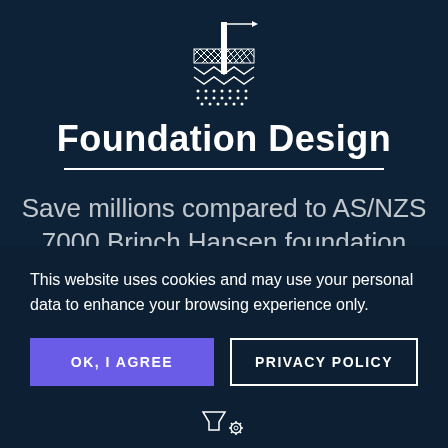[Figure (engineering-diagram): Foundation/pile engineering icon showing a vertical pile/rod driven through layered cross-hatched soil strata with an arrow pointing right at top]
Foundation Design
Save millions compared to AS/NZS 7000 Brinch Hansen foundation
This website uses cookies and may use your personal data to enhance your browsing experience only.
OK, I AGREE
PRIVACY POLICY
[Figure (logo): Small filter/funnel icon with gear/settings icon at bottom of page]